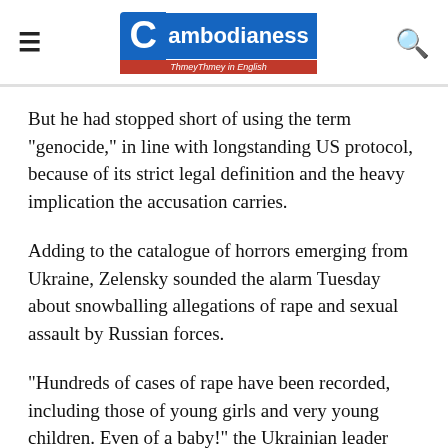Cambodianess — ThmeyThmey in English
But he had stopped short of using the term "genocide," in line with longstanding US protocol, because of its strict legal definition and the heavy implication the accusation carries.
Adding to the catalogue of horrors emerging from Ukraine, Zelensky sounded the alarm Tuesday about snowballing allegations of rape and sexual assault by Russian forces.
"Hundreds of cases of rape have been recorded, including those of young girls and very young children. Even of a baby!" the Ukrainian leader told Lithuanian lawmakers via video link.